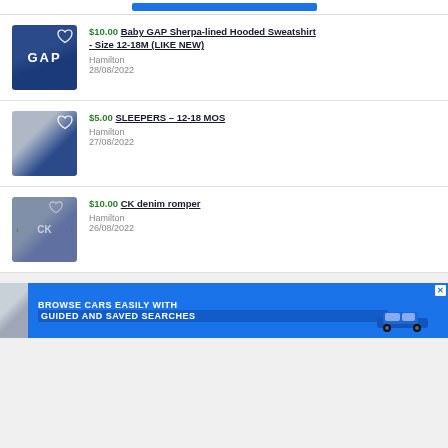[Figure (screenshot): Blue progress/search bar at top of page]
[Figure (photo): Baby GAP blue sherpa-lined hooded sweatshirt product photo]
$10.00 Baby GAP Sherpa-lined Hooded Sweatshirt - Size 12-18M (LIKE NEW)
Hamilton
28/08/2022
[Figure (photo): Sleepers baby clothing product photo in gray and navy]
$5.00 SLEEPERS - 12-18 MOS
Hamilton
27/08/2022
[Figure (photo): CK denim romper product photo]
$10.00 CK denim romper
Hamilton
26/08/2022
[Figure (screenshot): Advertisement banner: BROWSE CARS EASILY WITH GUIDED AND SAVED SEARCHES with BMW car image]